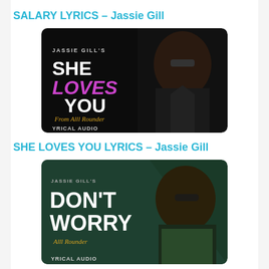SALARY LYRICS – Jassie Gill
[Figure (screenshot): Jassie Gill 'She Loves You' from Alll Rounder – Lyrical Audio thumbnail. Dark background with man in sunglasses and jacket, pink/white text 'SHE LOVES YOU', golden script 'From Alll Rounder', text 'YRICAL AUDIO' at bottom.]
SHE LOVES YOU LYRICS – Jassie Gill
[Figure (screenshot): Jassie Gill 'Don't Worry' from Alll Rounder – Lyrical Audio thumbnail. Dark green background with man in floral shirt and sunglasses, white bold text 'DON'T WORRY', golden script 'Alll Rounder', text 'YRICAL AUDIO' at bottom.]